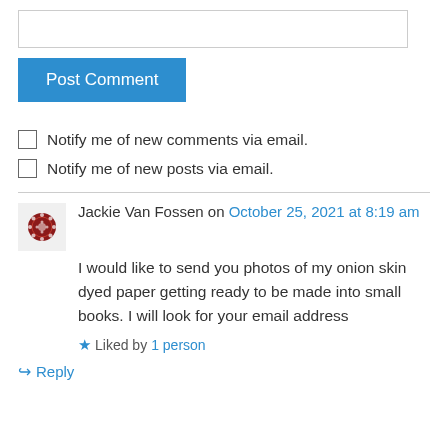[Figure (other): Text input field (empty comment form)]
Post Comment
Notify me of new comments via email.
Notify me of new posts via email.
Jackie Van Fossen on October 25, 2021 at 8:19 am
I would like to send you photos of my onion skin dyed paper getting ready to be made into small books. I will look for your email address
Liked by 1 person
Reply